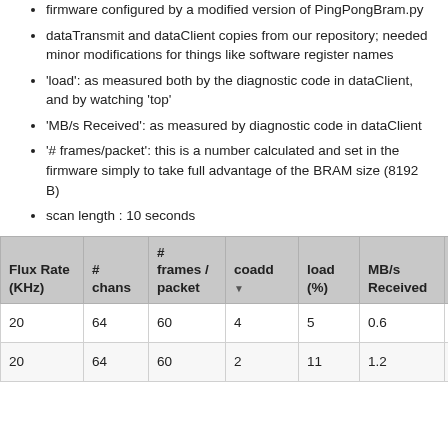firmware configured by a modified version of PingPongBram.py
dataTransmit and dataClient copies from our repository; needed minor modifications for things like software register names
'load': as measured both by the diagnostic code in dataClient, and by watching 'top'
'MB/s Received': as measured by diagnostic code in dataClient
'# frames/packet': this is a number calculated and set in the firmware simply to take full advantage of the BRAM size (8192 B)
scan length : 10 seconds
| Flux Rate (KHz) | # chans | # frames / packet | coadd | load (%) | MB/s Received | FITS MB | per |
| --- | --- | --- | --- | --- | --- | --- | --- |
| 20 | 64 | 60 | 4 | 5 | 0.6 | 13 | ✓ |
| 20 | 64 | 60 | 2 | 11 | 1.2 | 24 | ✓ |